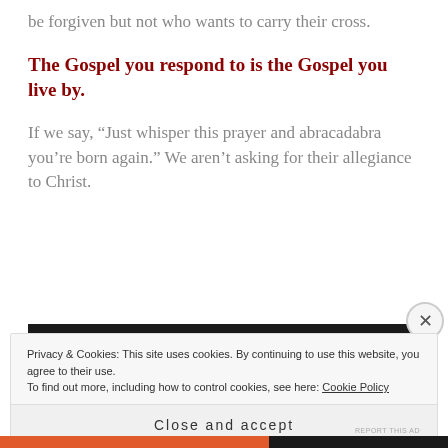be forgiven but not who wants to carry their cross.
The Gospel you respond to is the Gospel you live by.
If we say, “Just whisper this prayer and abracadabra you’re born again.” We aren’t asking for their allegiance to Christ.
[Figure (other): Dark advertisement bar]
REPORT THIS AD
Privacy & Cookies: This site uses cookies. By continuing to use this website, you agree to their use.
To find out more, including how to control cookies, see here: Cookie Policy
Close and accept